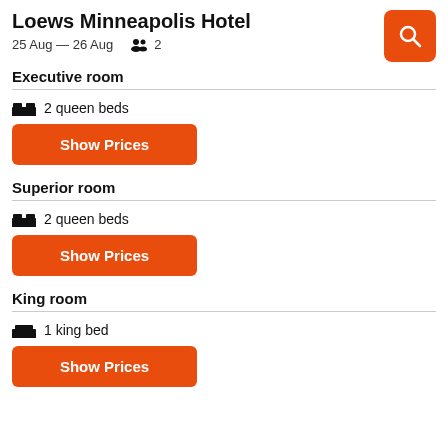Loews Minneapolis Hotel
25 Aug — 26 Aug   2
Executive room
2 queen beds
Show Prices
Superior room
2 queen beds
Show Prices
King room
1 king bed
Show Prices